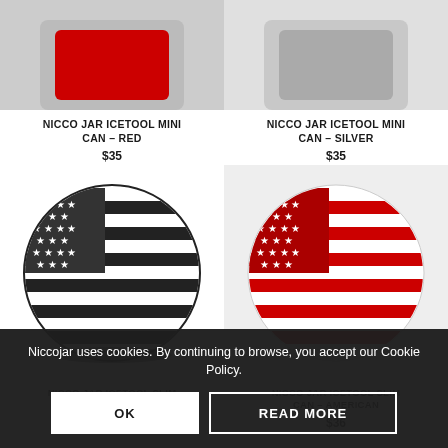[Figure (photo): Product image top portion of Nicco Jar Icetool Mini Can Red (partially visible, light gray background)]
[Figure (photo): Product image top portion of Nicco Jar Icetool Mini Can Silver (partially visible, light gray background)]
NICCO JAR ICETOOL MINI CAN – RED
$35
NICCO JAR ICETOOL MINI CAN – SILVER
$35
[Figure (photo): Round tin with black and white American flag design]
[Figure (photo): Round tin with red and white American flag design]
NICCO JAR ICETOOL SLIM CAN – BLACK
$36
NICCO JAR ICETOOL SLIM CAN – AMERICAN
$36
Niccojar uses cookies. By continuing to browse, you accept our Cookie Policy.